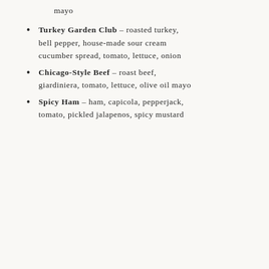mayo
Turkey Garden Club – roasted turkey, bell pepper, house-made sour cream cucumber spread, tomato, lettuce, onion
Chicago-Style Beef – roast beef, giardiniera, tomato, lettuce, olive oil mayo
Spicy Ham – ham, capicola, pepperjack, tomato, pickled jalapenos, spicy mustard